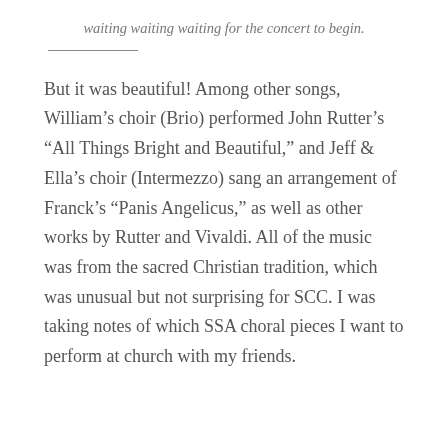waiting waiting waiting for the concert to begin.
But it was beautiful! Among other songs, William’s choir (Brio) performed John Rutter’s “All Things Bright and Beautiful,” and Jeff & Ella’s choir (Intermezzo) sang an arrangement of Franck’s “Panis Angelicus,” as well as other works by Rutter and Vivaldi. All of the music was from the sacred Christian tradition, which was unusual but not surprising for SCC. I was taking notes of which SSA choral pieces I want to perform at church with my friends.